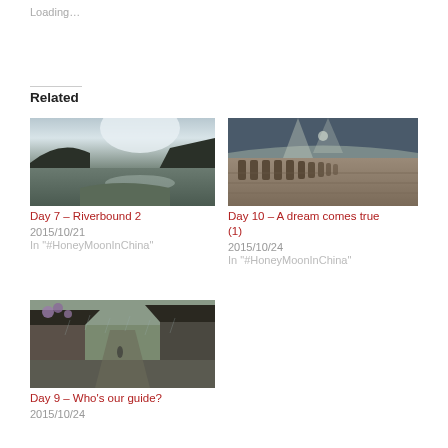Loading…
Related
[Figure (photo): River or lake scene with mountains and misty light reflecting on water]
Day 7 – Riverbound 2
2015/10/21
In "#HoneyMoonInChina"
[Figure (photo): Terracotta warrior statues inside a museum hall, rows extending into the distance under a large roof]
Day 10 – A dream comes true (1)
2015/10/24
In "#HoneyMoonInChina"
[Figure (photo): Narrow alleyway with traditional Chinese architecture, flowers, and a person walking in the rain]
Day 9 – Who's our guide?
2015/10/24